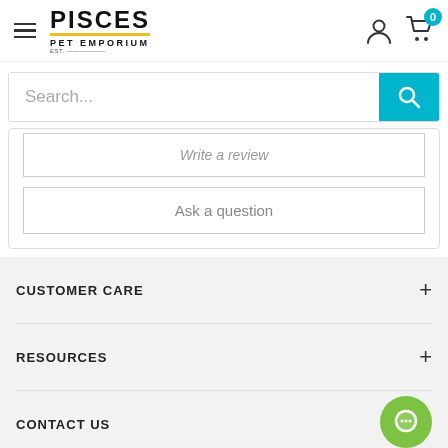[Figure (logo): Pisces Pet Emporium logo with hamburger menu icon on the left and user/cart icons on the right]
[Figure (screenshot): Search bar with placeholder text 'Search...' and a teal search button]
Write a review
Ask a question
CUSTOMER CARE
RESOURCES
CONTACT US
[Figure (illustration): Green circular chat bubble icon in the bottom right corner]